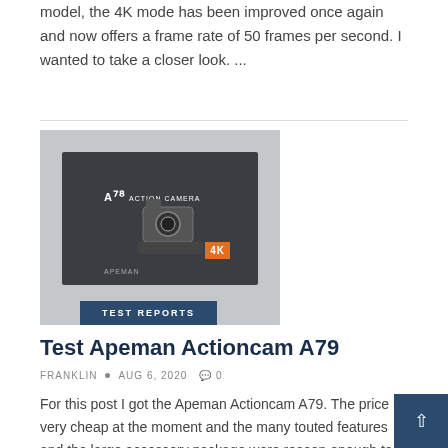model, the 4K mode has been improved once again and now offers a frame rate of 50 frames per second. I wanted to take a closer look. ...
[Figure (photo): Photo of Apeman A79 action camera product box on gray background, with a 'TEST REPORTS' label overlay at the bottom]
Test Apeman Actioncam A79
FRANKLIN • AUG 6, 2020 • 0
For this post I got the Apeman Actioncam A79. The price is very cheap at the moment and the many touted features and the large accessory package were reason enough to take a closer look at this camera.